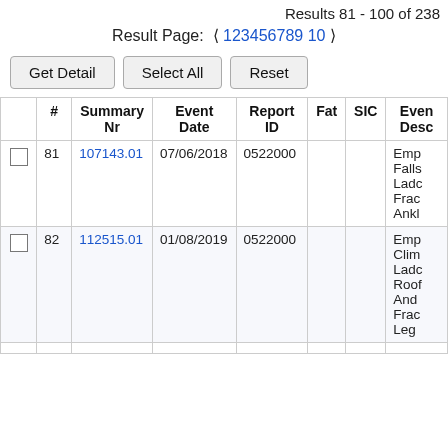Results 81 - 100 of 238
Result Page: ❮ 1 2 3 4 5 6 7 8 9 10 ❯
Get Detail | Select All | Reset
|  | # | Summary Nr | Event Date | Report ID | Fat | SIC | Event Desc |
| --- | --- | --- | --- | --- | --- | --- | --- |
| ☐ | 81 | 107143.01 | 07/06/2018 | 0522000 |  |  | Emp Falls Ladd Frac Ankl |
| ☐ | 82 | 112515.01 | 01/08/2019 | 0522000 |  |  | Emp Clim Ladd Roof And Frac Leg |